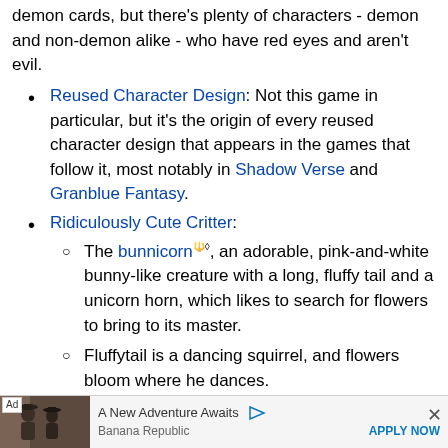demon cards, but there's plenty of characters - demon and non-demon alike - who have red eyes and aren't evil.
Reused Character Design: Not this game in particular, but it's the origin of every reused character design that appears in the games that follow it, most notably in Shadow Verse and Granblue Fantasy.
Ridiculously Cute Critter:
The bunnicorn, an adorable, pink-and-white bunny-like creature with a long, fluffy tail and a unicorn horn, which likes to search for flowers to bring to its master.
Fluffytail is a dancing squirrel, and flowers bloom where he dances.
Scary Shiny Glasses: Ms. Miranda had them in her entrance in the "Mysteria Academy" event. She turns out to be friendly, though, and they do not shine after that.
[Figure (other): Advertisement bar: Ad label, image placeholder showing two people, text 'A New Adventure Awaits', brand 'Banana Republic', and 'APPLY NOW' button]